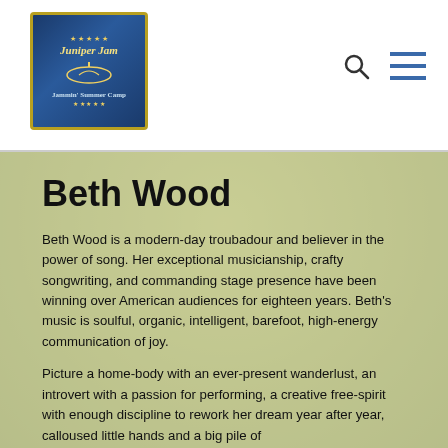[Figure (logo): Juniper Jam logo — circular badge with guitar silhouette and text on dark blue background with gold border]
[Figure (other): Search icon (magnifying glass)]
[Figure (other): Hamburger menu icon (three horizontal lines)]
Beth Wood
Beth Wood is a modern-day troubadour and believer in the power of song. Her exceptional musicianship, crafty songwriting, and commanding stage presence have been winning over American audiences for eighteen years. Beth's music is soulful, organic, intelligent, barefoot, high-energy communication of joy.
Picture a home-body with an ever-present wanderlust, an introvert with a passion for performing, a creative free-spirit with enough discipline to rework her dream year after year, calloused little hands and a big pile of